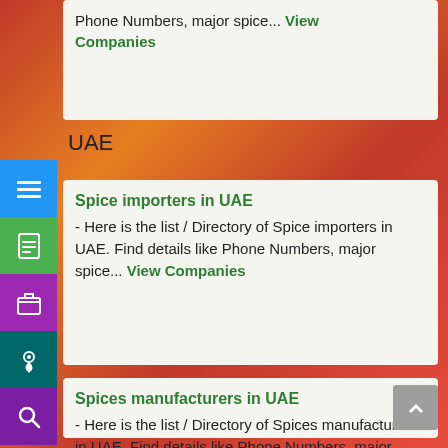Phone Numbers, major spice... View Companies
UAE
Spice importers in UAE - Here is the list / Directory of Spice importers in UAE. Find details like Phone Numbers, major spice... View Companies
Spices manufacturers in UAE - Here is the list / Directory of Spices manufacturers in UAE. Find details like Phone Numbers, major spice... View Companies